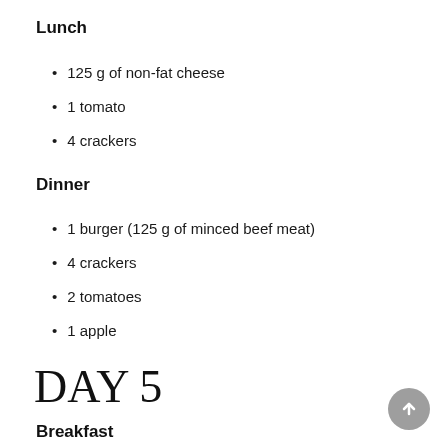Lunch
125 g of non-fat cheese
1 tomato
4 crackers
Dinner
1 burger (125 g of minced beef meat)
4 crackers
2 tomatoes
1 apple
DAY 5
Breakfast